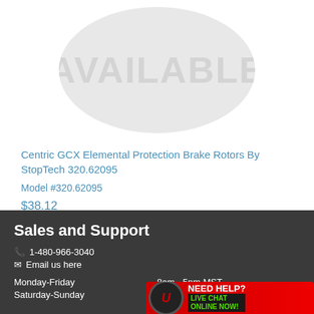[Figure (illustration): Circular watermark/placeholder image with 'AVAILABLE' text in large gray letters on a light gray circle background]
Centric GCX Elemental Protection Brake Rotors By StopTech 320.62095
Model #320.62095
$38.12
Sales and Support
1-480-966-3040
Email us here
Monday-Friday
Saturday-Sunday
8am - 5pm MST
Closed
[Figure (infographic): Live chat banner with red background showing 'NEED HELP? LIVE CHAT ONLINE NOW!' with a circular logo on the left]